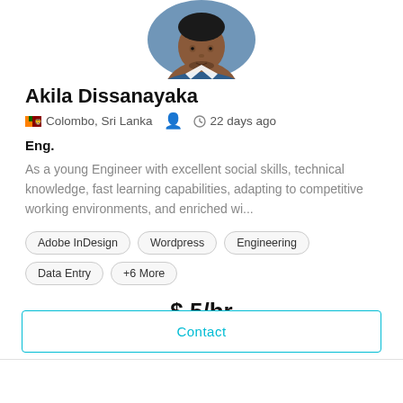[Figure (photo): Profile photo of Akila Dissanayaka, a man wearing a blue shirt, shown from chest up]
Akila Dissanayaka
🇱🇰 Colombo, Sri Lanka   👤   🕐 22 days ago
Eng.
As a young Engineer with excellent social skills, technical knowledge, fast learning capabilities, adapting to competitive working environments, and enriched wi...
Adobe InDesign
Wordpress
Engineering
Data Entry
+6 More
$ 5/hr
Contact